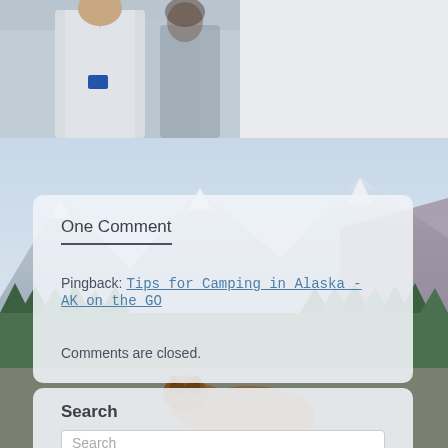[Figure (photo): Partial view of a man in a white button-down shirt with a name badge, and a woman with curly hair, in an indoor setting]
[Figure (photo): Mountain landscape with snow-capped peaks, green trees, and a grizzly bear in the foreground near a road]
One Comment
Pingback: Tips for Camping in Alaska - AK on the GO
Comments are closed.
Search